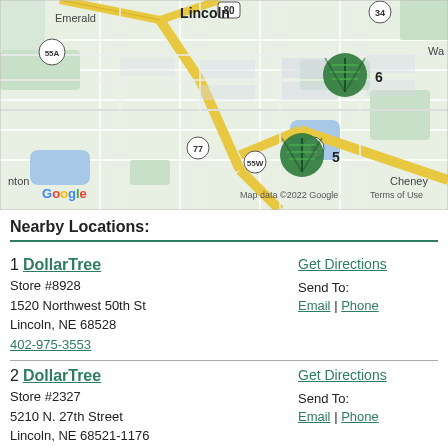[Figure (map): Google Map showing Lincoln area with two Dollar Tree store markers labeled 5 and 6, showing roads, highways (80, 34, 55A, 77, 55W, 2), and neighborhoods including Emerald, Lincoln, Cheney, and nton (Bennington). Map data ©2022 Google.]
Nearby Locations:
1 DollarTree
Store #8928
1520 Northwest 50th St
Lincoln, NE 68528
402-975-3553
Get Directions
Send To:
Email | Phone
2 DollarTree
Store #2327
5210 N. 27th Street
Lincoln, NE 68521-1176
Get Directions
Send To:
Email | Phone